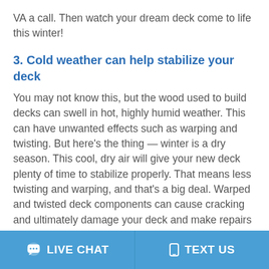VA a call. Then watch your dream deck come to life this winter!
3. Cold weather can help stabilize your deck
You may not know this, but the wood used to build decks can swell in hot, highly humid weather. This can have unwanted effects such as warping and twisting. But here’s the thing — winter is a dry season. This cool, dry air will give your new deck plenty of time to stabilize properly. That means less twisting and warping, and that’s a big deal. Warped and twisted deck components can cause cracking and ultimately damage your deck and make repairs necessary.
LIVE CHAT   TEXT US